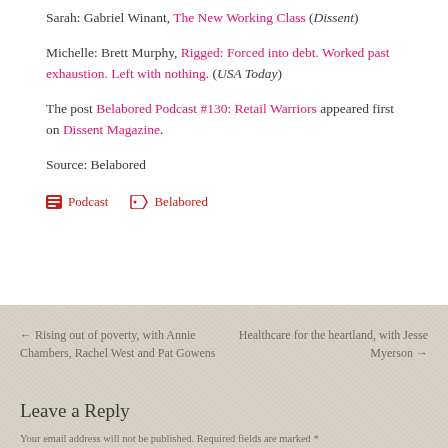Sarah: Gabriel Winant, The New Working Class (Dissent)
Michelle: Brett Murphy, Rigged: Forced into debt. Worked past exhaustion. Left with nothing. (USA Today)
The post Belabored Podcast #130: Retail Warriors appeared first on Dissent Magazine.
Source: Belabored
Podcast   Belabored
← Rising out of poverty, with Annie Chambers, Rachel West and Pat Gowens
Healthcare for the heartland, with Jesse Myerson →
Leave a Reply
Your email address will not be published. Required fields are marked *